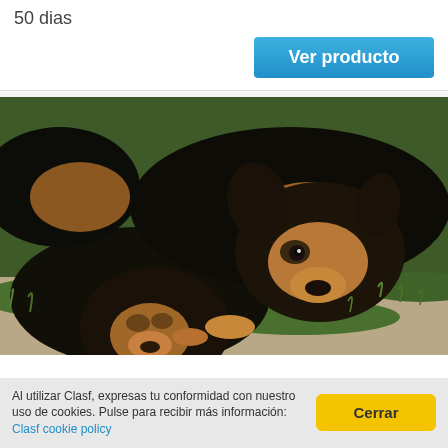50 dias
Ver producto
[Figure (photo): Three young German Shepherd puppies with black and tan fur, lying close together on grass and concrete, approximately 50 days old.]
Al utilizar Clasf, expresas tu conformidad con nuestro uso de cookies. Pulse para recibir más información: Clasf cookie policy
Cerrar